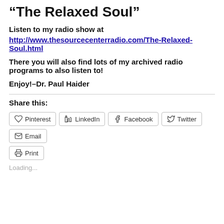“The Relaxed Soul”
Listen to my radio show at
http://www.thesourcecenterradio.com/The-Relaxed-Soul.html
There you will also find lots of my archived radio programs to also listen to!
Enjoy!–Dr. Paul Haider
Share this:
Pinterest  LinkedIn  Facebook  Twitter  Email  Print
Loading...